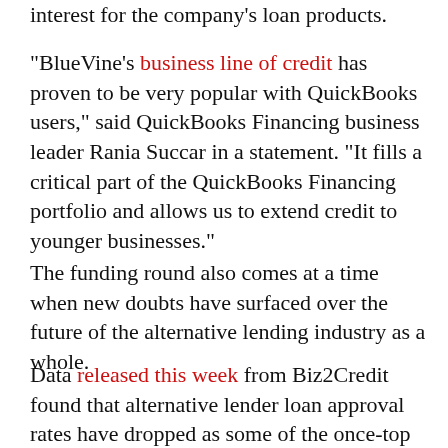interest for the company's loan products.
“BlueVine’s business line of credit has proven to be very popular with QuickBooks users,” said QuickBooks Financing business leader Rania Succar in a statement. “It fills a critical part of the QuickBooks Financing portfolio and allows us to extend credit to younger businesses.”
The funding round also comes at a time when new doubts have surfaced over the future of the alternative lending industry as a whole.
Data released this week from Biz2Credit found that alternative lender loan approval rates have dropped as some of the once-top players in the industry, like CAN Capital, face difficult times.